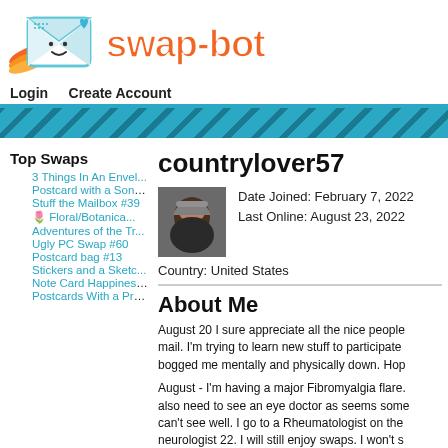[Figure (logo): Swap-bot logo: cartoon envelope face with a blue heart, orange swoosh behind it, and orange 'swap-bot' text]
Login   Create Account
countrylover57
Date Joined: February 7, 2022
Last Online: August 23, 2022
Country: United States
About Me
August 20 I sure appreciate all the nice people mail. I'm trying to learn new stuff to participate bogged me mentally and physically down. Hop
August - I'm having a major Fibromyalgia flare. also need to see an eye doctor as seems some can't see well. I go to a Rheumatologist on the neurologist 22. I will still enjoy swaps. I won't s
Top Swaps
3 Things In An Envel...
Postcard with a Song...
Stuff the Mailbox #39
🌷 Floral/Botanica...
Adventures of the Tr...
Ugly PC Swap #60
Postcard bag #13
Stickers and a Sketc...
Note Card Happiness ...
Postcards With a Pro...